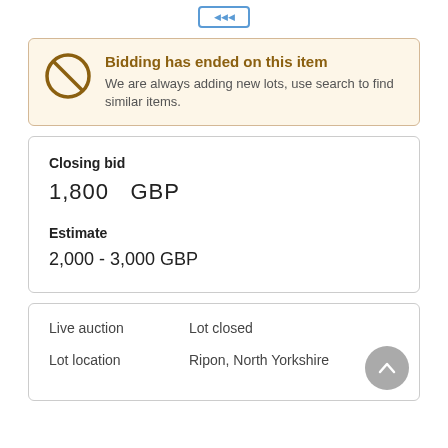[Figure (other): Small decorative button/logo at top center]
Bidding has ended on this item
We are always adding new lots, use search to find similar items.
Closing bid
1,800   GBP
Estimate
2,000 - 3,000 GBP
Live auction   Lot closed
Lot location   Ripon, North Yorkshire